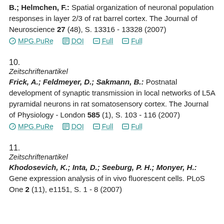B.; Helmchen, F.: Spatial organization of neuronal population responses in layer 2/3 of rat barrel cortex. The Journal of Neuroscience 27 (48), S. 13316 - 13328 (2007)
MPG.PuRe  DOI  Full  Full
10.
Zeitschriftenartikel
Frick, A.; Feldmeyer, D.; Sakmann, B.: Postnatal development of synaptic transmission in local networks of L5A pyramidal neurons in rat somatosensory cortex. The Journal of Physiology - London 585 (1), S. 103 - 116 (2007)
MPG.PuRe  DOI  Full  Full
11.
Zeitschriftenartikel
Khodosevich, K.; Inta, D.; Seeburg, P. H.; Monyer, H.: Gene expression analysis of in vivo fluorescent cells. PLoS One 2 (11), e1151, S. 1 - 8 (2007)